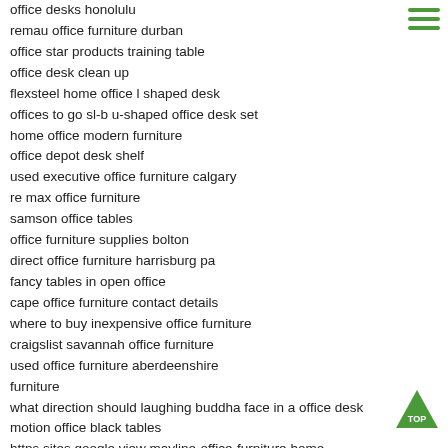office desks honolulu
remau office furniture durban
office star products training table
office desk clean up
flexsteel home office l shaped desk
offices to go sl-b u-shaped office desk set
home office modern furniture
office depot desk shelf
used executive office furniture calgary
re max office furniture
samson office tables
office furniture supplies bolton
direct office furniture harrisburg pa
fancy tables in open office
cape office furniture contact details
where to buy inexpensive office furniture
craigslist savannah office furniture
used office furniture aberdeenshire furniture
what direction should laughing buddha face in a office desk
motion office black tables
https sites google view mayline-office-furniture home
biker at office desk
bella luna tays dollhouse furniture office
nice office table
ebay office desk dividers
used bush office furniture
highland park high end office furniture store
office max desk with hutch
[Figure (other): Hamburger menu icon with three green horizontal lines]
[Figure (other): Green triangle TOP button]